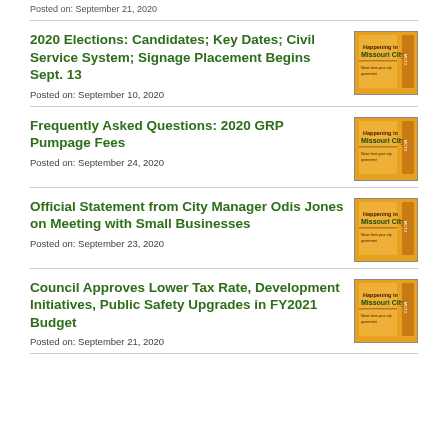Posted on: September 21, 2020
2020 Elections: Candidates; Key Dates; Civil Service System; Signage Placement Begins Sept. 13
Posted on: September 10, 2020
Frequently Asked Questions: 2020 GRP Pumpage Fees
Posted on: September 24, 2020
Official Statement from City Manager Odis Jones on Meeting with Small Businesses
Posted on: September 23, 2020
Council Approves Lower Tax Rate, Development Initiatives, Public Safety Upgrades in FY2021 Budget
Posted on: September 21, 2020